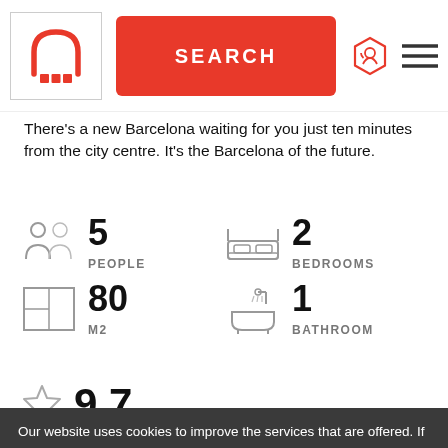[Figure (logo): Red arch/people logo mark in a white box]
[Figure (other): Red SEARCH button]
[Figure (other): Support icon and hamburger menu icon]
There's a new Barcelona waiting for you just ten minutes from the city centre. It's the Barcelona of the future.
5 PEOPLE
2 BEDROOMS
80 M2
1 BATHROOM
9,7
45 REVIEWS
Our website uses cookies to improve the services that are offered. If you continue browsing, we will assume that you accept their use
MORE INFORMATION
ACCEPT ✓